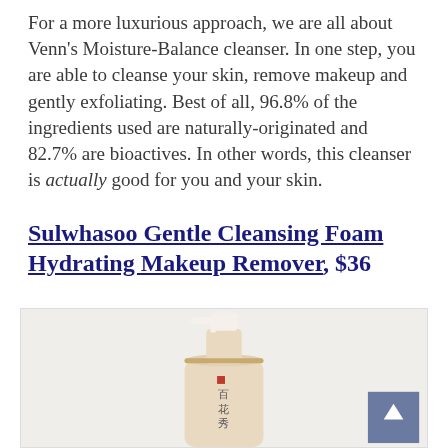For a more luxurious approach, we are all about Venn's Moisture-Balance cleanser. In one step, you are able to cleanse your skin, remove makeup and gently exfoliating. Best of all, 96.8% of the ingredients used are naturally-originated and 82.7% are bioactives. In other words, this cleanser is actually good for you and your skin.
Sulwhasoo Gentle Cleansing Foam Hydrating Makeup Remover, $36
[Figure (photo): Sulwhasoo Gentle Cleansing Foam Hydrating Makeup Remover product bottle — a tall beige/cream pump dispenser with white pump head, gold accent ring, and Korean characters on the label, on a light gray-beige background. A blue 'back to top' button appears in the bottom right corner.]